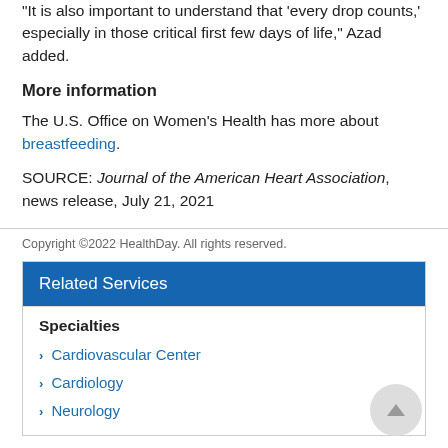"It is also important to understand that 'every drop counts,' especially in those critical first few days of life," Azad added.
More information
The U.S. Office on Women's Health has more about breastfeeding.
SOURCE: Journal of the American Heart Association, news release, July 21, 2021
Copyright ©2022 HealthDay. All rights reserved.
Related Services
Specialties
Cardiovascular Center
Cardiology
Neurology